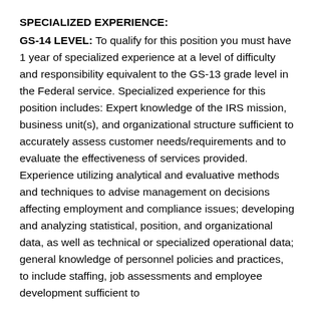SPECIALIZED EXPERIENCE:
GS-14 LEVEL: To qualify for this position you must have 1 year of specialized experience at a level of difficulty and responsibility equivalent to the GS-13 grade level in the Federal service. Specialized experience for this position includes: Expert knowledge of the IRS mission, business unit(s), and organizational structure sufficient to accurately assess customer needs/requirements and to evaluate the effectiveness of services provided. Experience utilizing analytical and evaluative methods and techniques to advise management on decisions affecting employment and compliance issues; developing and analyzing statistical, position, and organizational data, as well as technical or specialized operational data; general knowledge of personnel policies and practices, to include staffing, job assessments and employee development sufficient to provide advice and guidance on resource management.